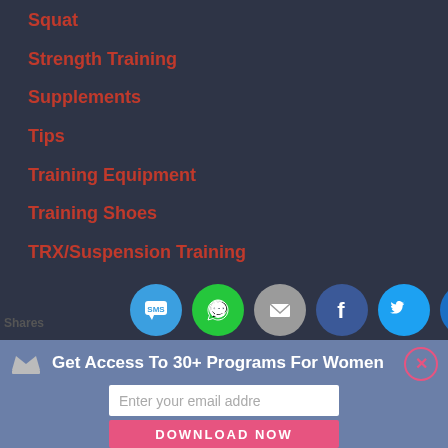Squat
Strength Training
Supplements
Tips
Training Equipment
Training Shoes
TRX/Suspension Training
Uncategorized
Video
[Figure (infographic): Social share bar with icons: SMS, WhatsApp, Email, Facebook, Twitter, Crown/King app. 'Shares' label on the left.]
Get Access To 30+ Programs For Women
Enter your email addre
DOWNLOAD NOW